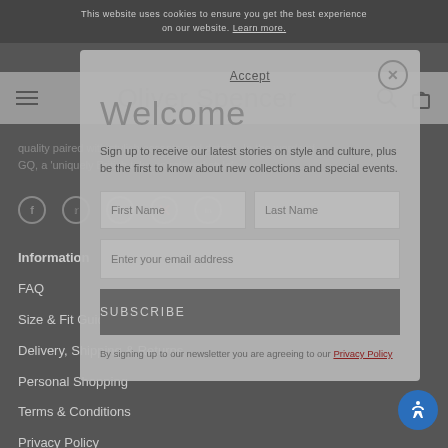This website uses cookies to ensure you get the best experience on our website. Learn more.
[Figure (screenshot): Navigation bar with hamburger menu, Oliver Spencer brand name, search and bag icons]
quality paired with stylish accents and details. In the words of GQ, a 'uniquely British take on relaxed style'.
[Figure (infographic): Social media icons row: Facebook, Twitter, Instagram, Pinterest, LinkedIn]
Welcome
Sign up to receive our latest stories on style and culture, plus be the first to know about new collections and special events.
First Name
Last Name
Enter your email address
SUBSCRIBE
By signing up to our newsletter you are agreeing to our Privacy Policy
Information
FAQ
Size & Fit Guide
Delivery, Shipping & Returns
Personal Shopping
Terms & Conditions
Privacy Policy